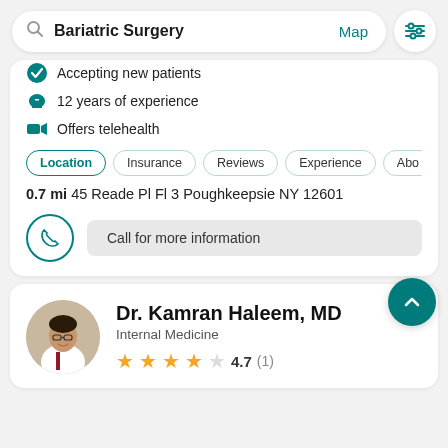Bariatric Surgery  Map
Accepting new patients
12 years of experience
Offers telehealth
Location  Insurance  Reviews  Experience  Abo
0.7 mi 45 Reade Pl Fl 3 Poughkeepsie NY 12601
Call for more information
Dr. Kamran Haleem, MD
Internal Medicine
4.7  (1)